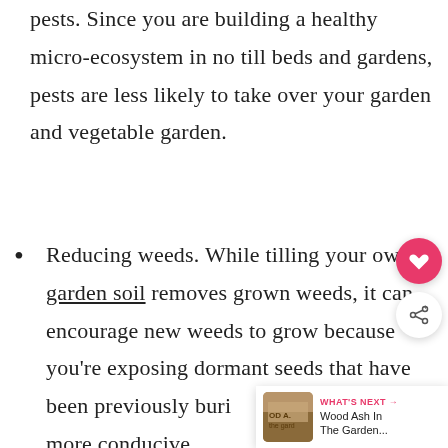pests. Since you are building a healthy micro-ecosystem in no till beds and gardens, pests are less likely to take over your garden and vegetable garden.
Reducing weeds. While tilling your own garden soil removes grown weeds, it can encourage new weeds to grow because you're exposing dormant seeds that have been previously buri[ed in an] area that is much more conducive
[Figure (other): Social action buttons: heart/save button (pink) and share button (white with share icon)]
[Figure (other): What's Next card showing Wood Ash In The Garden... article with thumbnail]